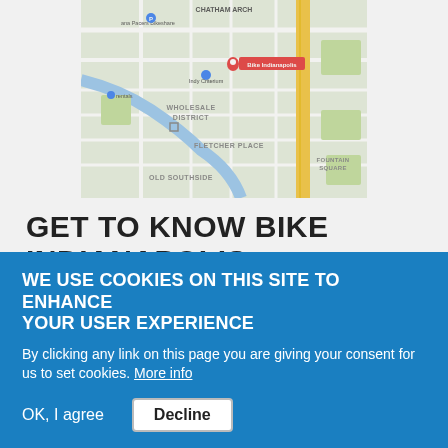[Figure (map): Google Maps screenshot showing downtown Indianapolis area with a red pin marker labeled 'Bike Indianapolis', showing streets, WHOLESALE DISTRICT, FLETCHER PLACE, FOUNTAIN SQUARE, and OLD SOUTHSIDE neighborhoods. A yellow highway runs vertically on the right side.]
GET TO KNOW BIKE INDIANAPOLIS
Type of content: Blog
WE USE COOKIES ON THIS SITE TO ENHANCE YOUR USER EXPERIENCE
By clicking any link on this page you are giving your consent for us to set cookies. More info
OK, I agree   Decline